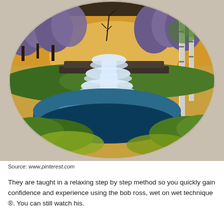[Figure (illustration): An oval-framed oil painting in the style of Bob Ross, depicting a serene nature scene with a cascading waterfall flowing into a calm blue river, surrounded by green grass, birch trees, purple-hued trees, and an orange sunset sky in the background. The oval painting is set against a textured beige/gray background.]
Source: www.pinterest.com
They are taught in a relaxing step by step method so you quickly gain confidence and experience using the bob ross, wet on wet technique ®. You can still watch his.